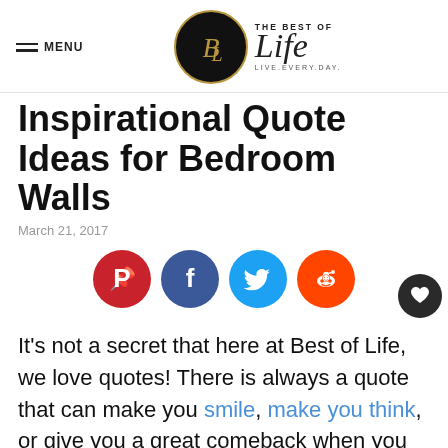MENU | The Best of Life LIVE.EVERY.DAY.
Inspirational Quote Ideas for Bedroom Walls
March 21, 2017
[Figure (infographic): Social share buttons: Pinterest (red), Facebook (blue), Twitter (light blue), Reddit (orange), and a heart/save button (dark).]
It's not a secret that here at Best of Life, we love quotes! There is always a quote that can make you smile, make you think, or give you a great comeback when you are